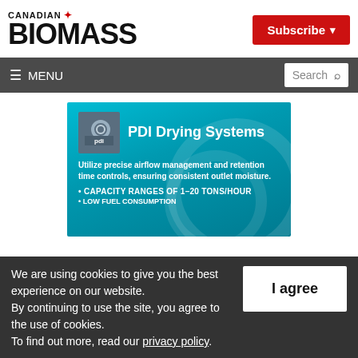CANADIAN BIOMASS
[Figure (screenshot): PDI Drying Systems advertisement banner on teal/cyan background with PDI logo, headline 'PDI Drying Systems', description 'Utilize precise airflow management and retention time controls, ensuring consistent outlet moisture.', bullet points 'CAPACITY RANGES OF 1-20 TONS/HOUR' and 'LOW FUEL CONSUMPTION']
We are using cookies to give you the best experience on our website. By continuing to use the site, you agree to the use of cookies. To find out more, read our privacy policy.